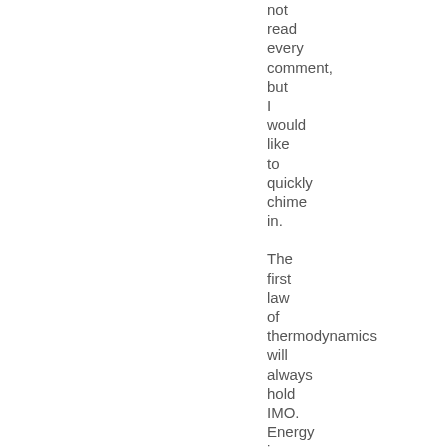not read every comment, but I would like to quickly chime in. The first law of thermodynamics will always hold IMO. Energy in minus energy out equals